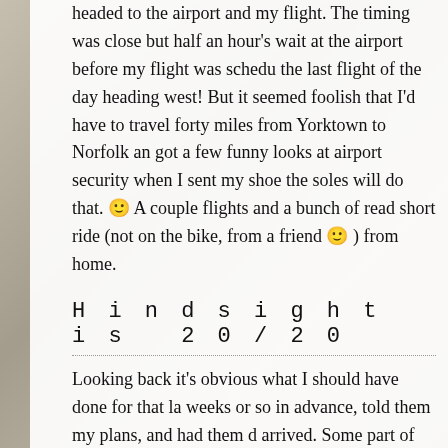headed to the airport and my flight. The timing was close but half an hour's wait at the airport before my flight was scheduled the last flight of the day heading west! But it seemed foolish that I'd have to travel forty miles from Yorktown to Norfolk and got a few funny looks at airport security when I sent my shoes the soles will do that. 🙂 A couple flights and a bunch of reading short ride (not on the bike, from a friend 🙂 ) from home.
Hindsight is 20/20
Looking back it's obvious what I should have done for that last weeks or so in advance, told them my plans, and had them arrived. Some part of me unconsciously resisted doing this but plans, I'm sure. But it seems unlikely it would have been a problem clear, and then give a call a couple days out with the go/no-go basically worked out. And even if it hadn't, these were problems absolutely necessary, with a large infusion of cash. As a true someone to pack and ship the bike for me, while I flew back